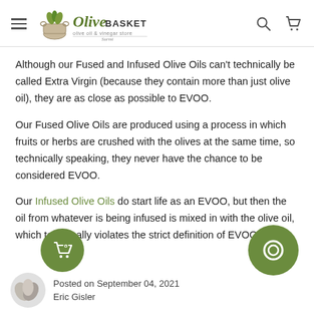Olive Basket – olive oil & vinegar store
Although our Fused and Infused Olive Oils can't technically be called Extra Virgin (because they contain more than just olive oil), they are as close as possible to EVOO.
Our Fused Olive Oils are produced using a process in which fruits or herbs are crushed with the olives at the same time, so technically speaking, they never have the chance to be considered EVOO.
Our Infused Olive Oils do start life as an EVOO, but then the oil from whatever is being infused is mixed in with the olive oil, which technically violates the strict definition of EVOO.
Posted on September 04, 2021
Eric Gisler